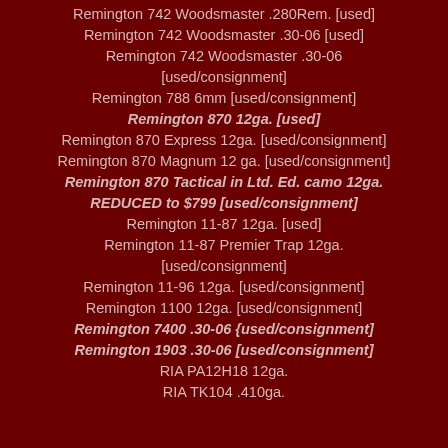Remington 742 Woodsmaster .280Rem. [used]
Remington 742 Woodsmaster .30-06 [used]
Remington 742 Woodsmaster .30-06 [used/consignment]
Remington 788 6mm [used/consignment]
Remington 870 12ga. [used]
Remington 870 Express 12ga. [used/consignment]
Remington 870 Magnum 12 ga. [used/consignment]
Remington 870 Tactical in Ltd. Ed. camo 12ga. REDUCED to $799 [used/consignment]
Remington 11-87 12ga. [used]
Remington 11-87 Premier Trap 12ga. [used/consignment]
Remington 11-96 12ga. [used/consignment]
Remington 1100 12ga. [used/consignment]
Remington 7400 .30-06 {used/consignment]
Remington 1903 .30-06 [used/consignment]
RIA PA12H18 12ga.
RIA TK104 .410ga.